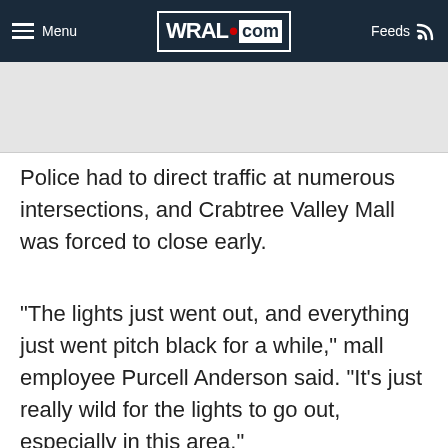Menu | WRAL.com | Feeds
Police had to direct traffic at numerous intersections, and Crabtree Valley Mall was forced to close early.
"The lights just went out, and everything just went pitch black for a while," mall employee Purcell Anderson said. "It's just really wild for the lights to go out, especially in this area."